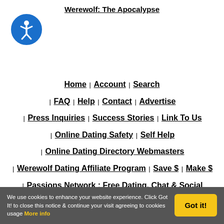Werewolf: The Apocalypse
Home | Account | Search
| FAQ | Help | Contact | Advertise
| Press Inquiries | Success Stories | Link To Us
| Online Dating Safety | Self Help
| Online Dating Directory Webmasters
| Werewolf Dating Affiliate Program | Save $ | Make $
| Passions Network : Free Dating, Chat & Social Networking
We use cookies to enhance your website experience. Click Got It! to close this notice & continue your visit agreeing to cookies usage More info